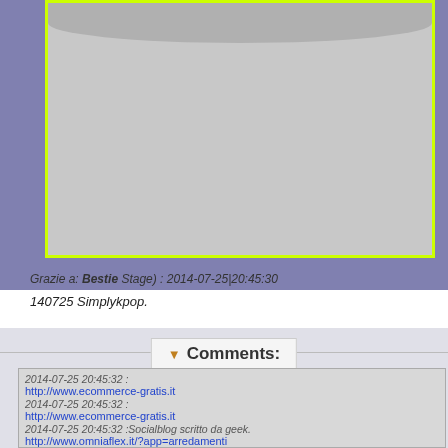[Figure (photo): Gray image placeholder with yellow-green border, partial view at top of page on purple background]
Grazie a: Bestie Stage) : 2014-07-25|20:45:30
140725 Simplykpop.
Comments:
2014-07-25 20:45:32 :
http://www.ecommerce-gratis.it
2014-07-25 20:45:32 :
http://www.ecommerce-gratis.it
2014-07-25 20:45:32 :Socialblog scritto da geek.
http://www.omniaflex.it/?app=arredamenti
2014-07-25 20:45:32 :
http://www.cirro.it
2014-07-25 20:45:32 :Currently No Article
http://www.nerdibook.it
2014-07-25 20:45:32 :
http://www.omniaflex.it/?app=arredamenti
2014-07-25 20:45:32 :
http://www.cirro.it
2014-07-25 20:45:32 : articles from Article Submission Directory - Easy Article Submit
http://www.cirro.it
2014-07-25 20:45:32 :
http://test-autismo-qi.ilpr.it
2014-07-25 20:45:32 :
http://www.cirro.it